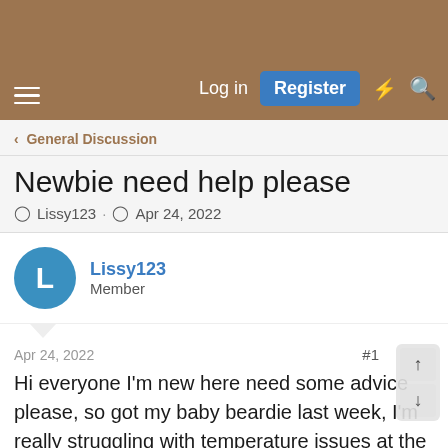Log in | Register
< General Discussion
Newbie need help please
Lissy123 · Apr 24, 2022
Lissy123
Member
Apr 24, 2022
#1
Hi everyone I'm new here need some advice please, so got my baby beardie last week, I'm really struggling with temperature issues at the moment, I